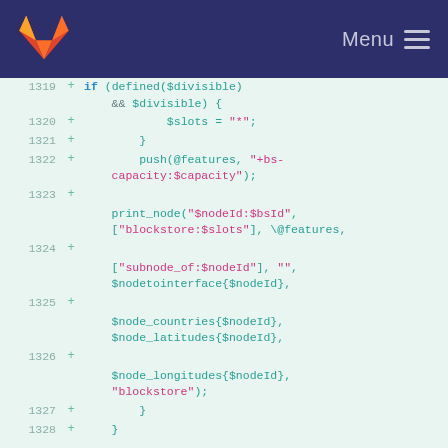GitLab — Menu
Code diff viewer showing lines 1319-1328 of a Perl/configuration script with git diff additions (+). Lines include conditional logic for $divisible, $slots assignment, push(@features, "+bs-capacity:$capacity"), print_node calls with blockstore and subnode_of arguments, $nodetointerface, $node_countries, $node_latitudes, $node_longitudes references, and closing braces.